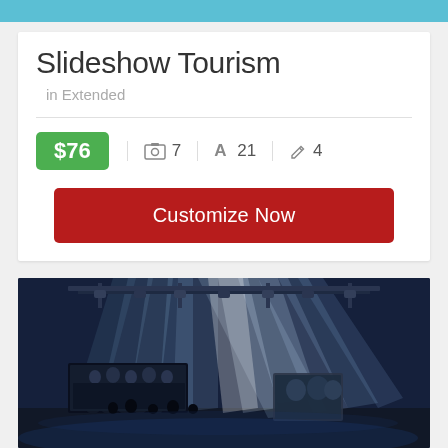Slideshow Tourism
in Extended
$76  🖼 7  A 21  ✏ 4
Customize Now
[Figure (photo): Concert stage with dramatic spotlights beaming from above, performers silhouetted on a dark blue-lit stage with a crowd and display screens visible]